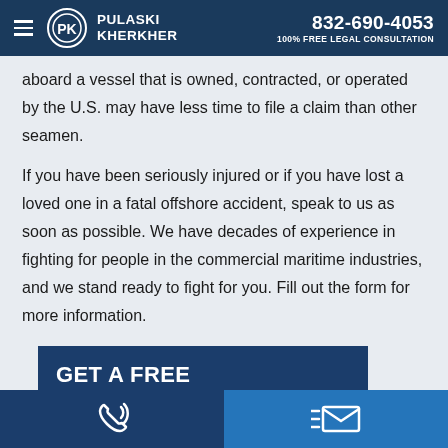PULASKI KHERKHER | 832-690-4053 | 100% FREE LEGAL CONSULTATION
aboard a vessel that is owned, contracted, or operated by the U.S. may have less time to file a claim than other seamen.
If you have been seriously injured or if you have lost a loved one in a fatal offshore accident, speak to us as soon as possible. We have decades of experience in fighting for people in the commercial maritime industries, and we stand ready to fight for you. Fill out the form for more information.
GET A FREE CONSULTATION
Get a free, confidential evaluation to determine